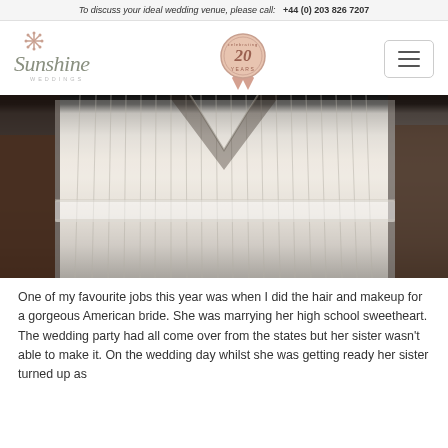To discuss your ideal wedding venue, please call:   +44 (0) 203 826 7207
[Figure (logo): Sunshine Weddings logo with star/asterisk decorative element above the script text]
[Figure (illustration): Rose gold ribbon badge / seal with '20 YEARS' text]
[Figure (other): Hamburger menu icon button (three horizontal lines in a rounded rectangle border)]
[Figure (photo): Close-up photograph of a bride in a white/ivory pleated dress, showing the bodice and waist area with lace detail belt]
One of my favourite jobs this year was when I did the hair and makeup for a gorgeous American bride. She was marrying her high school sweetheart. The wedding party had all come over from the states but her sister wasn't able to make it. On the wedding day whilst she was getting ready her sister turned up as